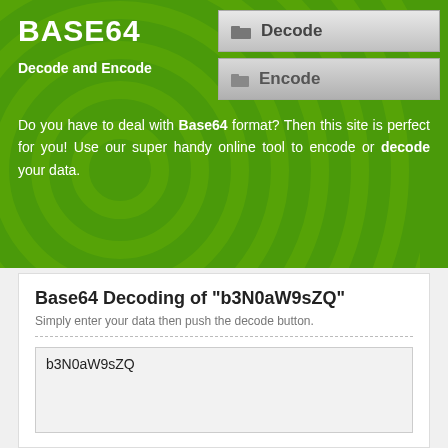BASE64
Decode and Encode
[Figure (screenshot): Decode button with folder icon]
[Figure (screenshot): Encode button with folder icon]
Do you have to deal with Base64 format? Then this site is perfect for you! Use our super handy online tool to encode or decode your data.
Base64 Decoding of "b3N0aW9sZQ"
Simply enter your data then push the decode button.
b3N0aW9sZQ